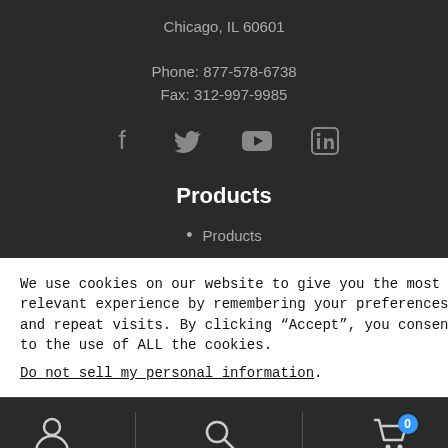Chicago, IL 60601
Phone: 877-578-6738
Fax: 312-997-9985
[Figure (other): Social media icons: Facebook, Twitter, YouTube, LinkedIn]
Products
Products
We use cookies on our website to give you the most relevant experience by remembering your preferences and repeat visits. By clicking “Accept”, you consent to the use of ALL the cookies.
Do not sell my personal information.
[Figure (other): Bottom navigation bar with user/account icon, search icon, and shopping cart icon with badge showing 0]